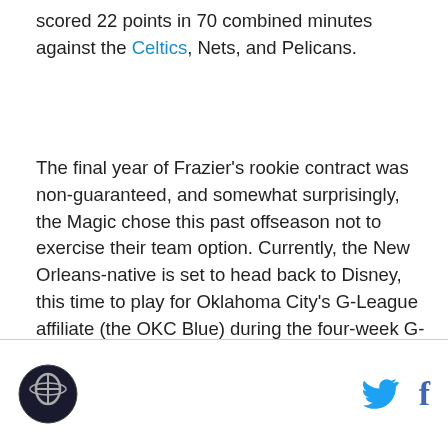scored 22 points in 70 combined minutes against the Celtics, Nets, and Pelicans.
The final year of Frazier's rookie contract was non-guaranteed, and somewhat surprisingly, the Magic chose this past offseason not to exercise their team option. Currently, the New Orleans-native is set to head back to Disney, this time to play for Oklahoma City's G-League affiliate (the OKC Blue) during the four-week G-League season.
Robinson, who has started 27 games at the center position this season for Tom Thibodeau's New York Knicks, was selected with the 27th pick in '18 (one